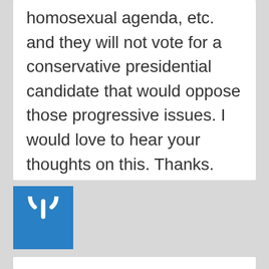homosexual agenda, etc. and they will not vote for a conservative presidential candidate that would oppose those progressive issues. I would love to hear your thoughts on this. Thanks.
[Figure (logo): Blue square with white power button icon]